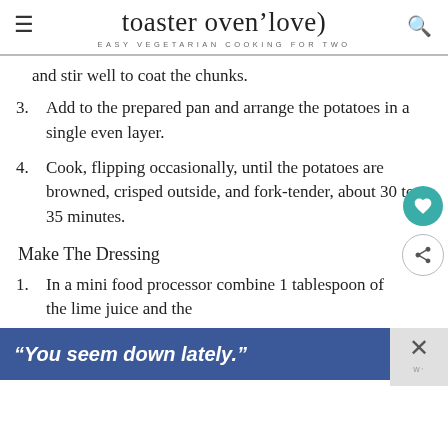toaster oven love
EASY VEGETARIAN COOKING FOR TWO
and stir well to coat the chunks.
3. Add to the prepared pan and arrange the potatoes in a single even layer.
4. Cook, flipping occasionally, until the potatoes are browned, crisped outside, and fork-tender, about 30 to 35 minutes.
Make The Dressing
1. In a mini food processor combine 1 tablespoon of the lime juice and the
“You seem down lately.”